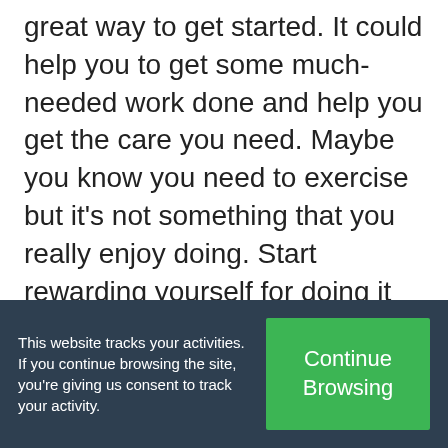great way to get started. It could help you to get some much-needed work done and help you get the care you need. Maybe you know you need to exercise but it's not something that you really enjoy doing. Start rewarding yourself for doing it so that you get an immediate benefit for anything that will only provide long-term results. For example, did you do your exercise every day
This website tracks your activities. If you continue browsing the site, you're giving us consent to track your activity.
Continue Browsing